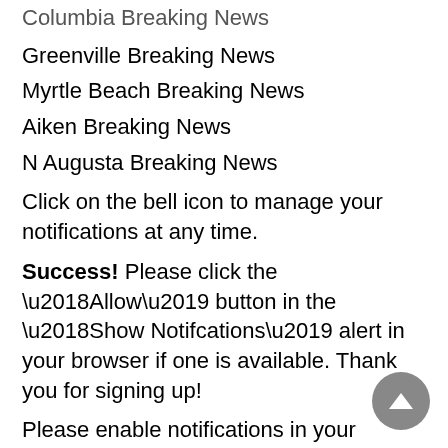Columbia Breaking News
Greenville Breaking News
Myrtle Beach Breaking News
Aiken Breaking News
N Augusta Breaking News
Click on the bell icon to manage your notifications at any time.
Success! Please click the ‘Allow’ button in the ‘Show Notifcations’ alert in your browser if one is available. Thank you for signing up!
Please enable notifications in your browser and reload the page.
You are already subscribed to this topic.
Partly cloudy. High 67F. Winds NNW at 10 to 15 mph..
Partly cloudy skies. Low 43F. Winds NW at 5 to 10